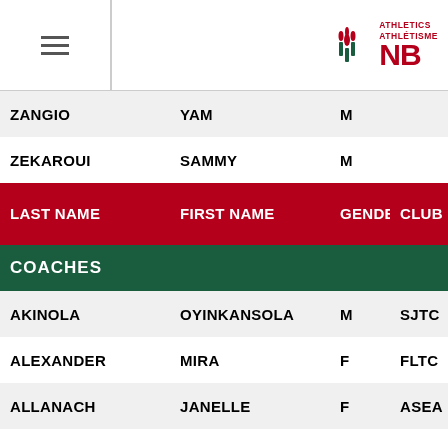Athletics Athletisme NB
| LAST NAME | FIRST NAME | GENDER | CLUB | AC NUM |
| --- | --- | --- | --- | --- |
| ZANGIO | YAM | M |  | RECREATIO |
| ZEKAROUI | SAMMY | M |  | RECREATIO |
| COACHES |  |  |  |  |
| AKINOLA | OYINKANSOLA | M | SJTC | 9410 |
| ALEXANDER | MIRA | F | FLTC | 0057 |
| ALLANACH | JANELLE | F | ASEA | 0319 |
| BELOF | CHRIS | M | SJTC | 8279 |
| BLACKMORE | ERIKA | F | ASEA | 0346 |
| BLANCHETTE | LUC | M | ASEA | 0476 |
| BRENNAN | TIMOTHY | M | UNNB | 9631 |
| BUTLER | JENNIFER | F | FLTC | 6245 |
| CHASE | MYALI | F | ASEA | 03 |